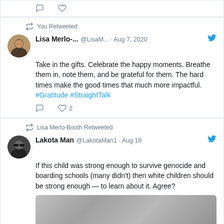[Figure (screenshot): Partial top of a tweet card showing comment and like icons]
You Retweeted
Lisa Merlo-... @LisaM... · Aug 7, 2020
Take in the gifts. Celebrate the happy moments. Breathe them in, note them, and be grateful for them. The hard times make the good times that much more impactful. #Gratitude #StraightTalk
2
Lisa Merlo-Booth Retweeted
Lakota Man @LakotaMan1 · Aug 18
If this child was strong enough to survive genocide and boarding schools (many didn't) then white children should be strong enough — to learn about it. Agree?
[Figure (photo): Blurred/redacted image at the bottom of the Lakota Man tweet]